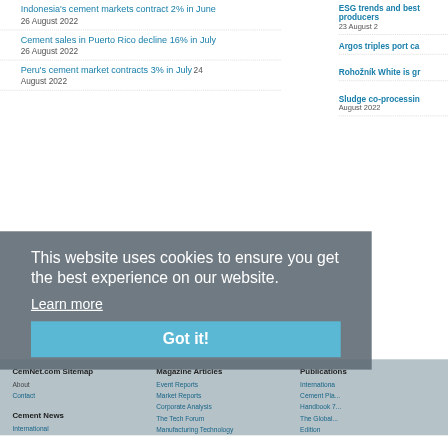Indonesia's cement markets contract 2% in June
26 August 2022
Cement sales in Puerto Rico decline 16% in July
26 August 2022
Peru's cement market contracts 3% in July 24 August 2022
ESG trends and best... producers 23 August...
Argos triples port ca...
Rohožník White is gr...
Sludge co-processin...
August 2022
This website uses cookies to ensure you get the best experience on our website.
Learn more
Got it!
CemNet.com Sitemap
About
Contact
Cement News
International
Magazine Articles
Event Reports
Market Reports
Corporate Analysis
The Tech Forum
Manufacturing Technology
Publications
Internationa...
Cement Pla... Handbook 7...
The Global... Edition